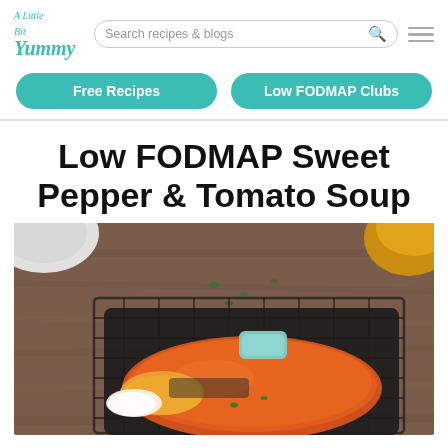A Little Bit Yummy | Search recipes & blogs
Free Recipes | Low FODMAP Clubs
Low FODMAP Sweet Pepper & Tomato Soup
[Figure (photo): Top-down photo of a dark pan with orange tomato soup on a wire cooling rack on a wooden surface. A pastry brush with orange and white bristles rests on the pan. A light blue/mint handle is visible. A white ceramic bowl and a yellow/orange bell pepper are partially visible at the top corners. Small green herb flecks scattered on the wooden board.]